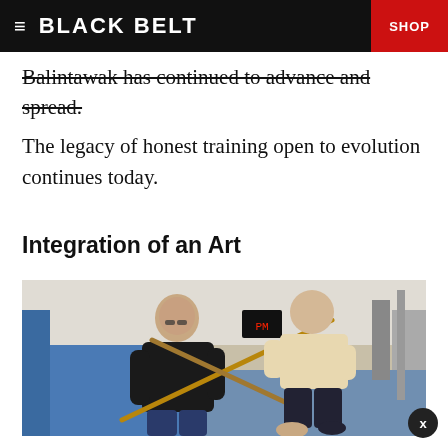BLACK BELT | SHOP
Balintawak has continued to advance and spread. The legacy of honest training open to evolution continues today.
Integration of an Art
[Figure (photo): Two men practicing stick fighting (arnis/eskrima) in a martial arts gym. One man wearing a black shirt holds a wooden stick crossing with the other man in a beige shirt who is in a low stance. Blue mats and gym equipment visible in background.]